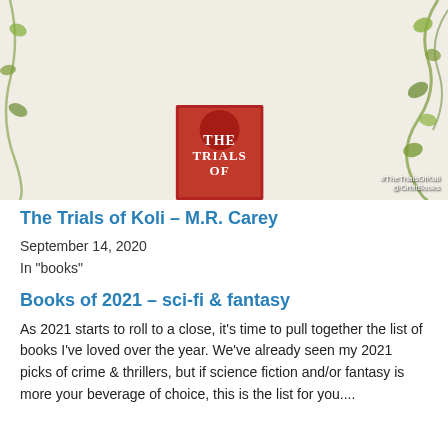[Figure (infographic): Blog tour schedule grid for 'The Trials of Koli' showing dates (16 Sep - 5 Oct), blog names in red, and Twitter handles in three columns, with a book cover image overlaid and hashtag #TheTrialsOfKoli @OrbitBooks]
The Trials of Koli – M.R. Carey
September 14, 2020
In "books"
Books of 2021 – sci-fi & fantasy
As 2021 starts to roll to a close, it's time to pull together the list of books I've loved over the year. We've already seen my 2021 picks of crime & thrillers, but if science fiction and/or fantasy is more your beverage of choice, this is the list for you....